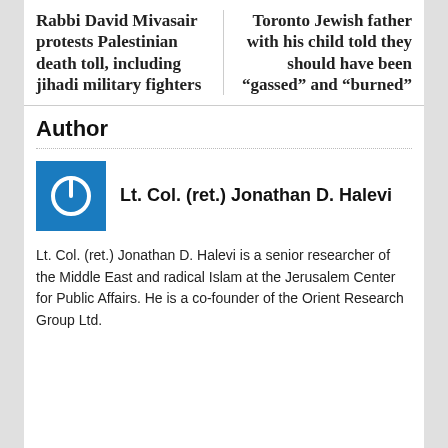Rabbi David Mivasair protests Palestinian death toll, including jihadi military fighters
Toronto Jewish father with his child told they should have been “gassed” and “burned”
Author
[Figure (logo): Blue square icon with white power button symbol]
Lt. Col. (ret.) Jonathan D. Halevi
Lt. Col. (ret.) Jonathan D. Halevi is a senior researcher of the Middle East and radical Islam at the Jerusalem Center for Public Affairs. He is a co-founder of the Orient Research Group Ltd.